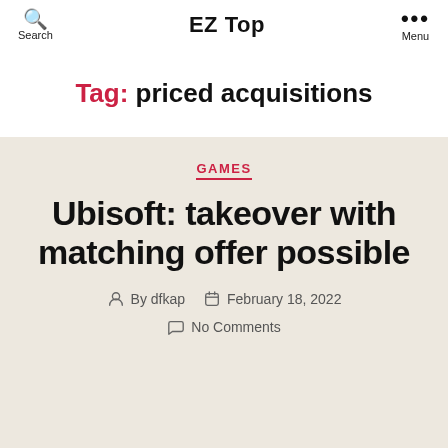Search | EZ Top | Menu
Tag: priced acquisitions
GAMES
Ubisoft: takeover with matching offer possible
By dfkap  February 18, 2022  No Comments